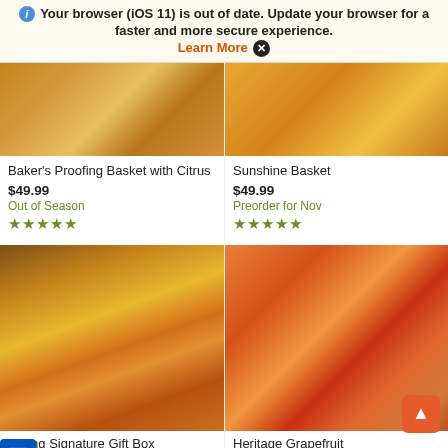Your browser (iOS 11) is out of date. Update your browser for a faster and more secure experience. Learn More ✕
[Figure (photo): Baker's Proofing Basket with Citrus product image showing citrus fruits, candies and baked goods on a wooden surface]
Baker's Proofing Basket with Citrus
$49.99
Out of Season
★★★★★
[Figure (photo): Sunshine Basket product image showing orange slices and citrus fruits on a wooden surface]
Sunshine Basket
$49.99
Preorder for Nov
★★★★★
[Figure (photo): Spring Signature Gift Box product image showing oranges, grapefruits, candies and cookies in a gift box]
Spring Signature Gift Box
$__.99
[Figure (photo): Heritage Grapefruit product image showing whole and sliced grapefruits on a wooden surface]
Heritage Grapefruit
$37.99